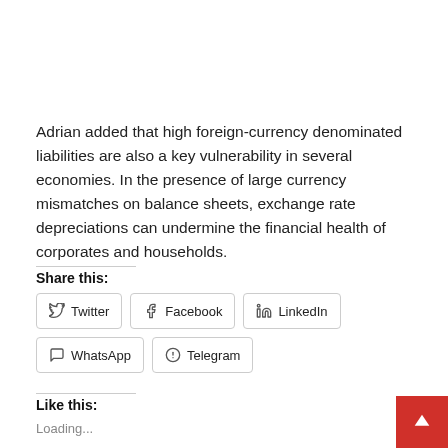Adrian added that high foreign-currency denominated liabilities are also a key vulnerability in several economies. In the presence of large currency mismatches on balance sheets, exchange rate depreciations can undermine the financial health of corporates and households.
Share this:
Twitter
Facebook
LinkedIn
WhatsApp
Telegram
Like this:
Loading...